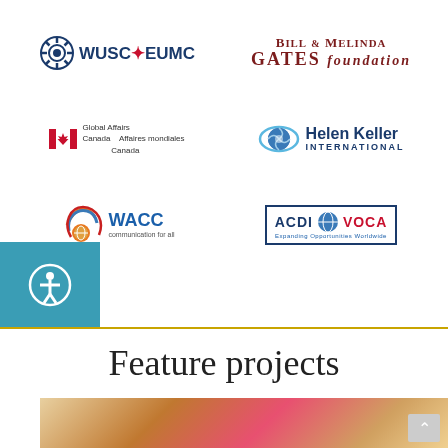[Figure (logo): WUSC EUMC logo with gear icon and maple leaf]
[Figure (logo): Bill & Melinda Gates Foundation logo in dark red serif font]
[Figure (logo): Global Affairs Canada / Affaires mondiales Canada logo with Canadian flag]
[Figure (logo): Helen Keller International logo with globe/eye icon]
[Figure (logo): WACC Communication for all logo with colorful circular wave icon]
[Figure (logo): ACDI VOCA Expanding Opportunities Worldwide logo in bordered box]
Feature projects
[Figure (photo): Photo of people, partially visible at bottom of page]